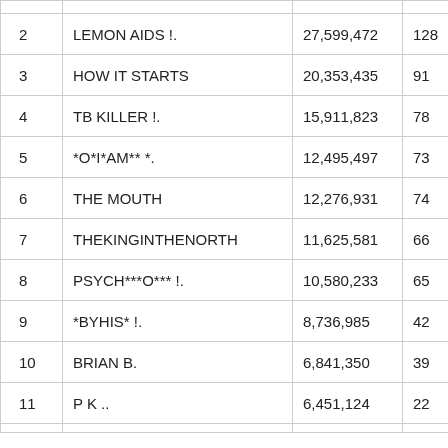| # | Name | Score |  |
| --- | --- | --- | --- |
| 2 | LEMON AIDS !. | 27,599,472 | 128 |
| 3 | HOW IT STARTS | 20,353,435 | 91 |
| 4 | TB KILLER !. | 15,911,823 | 78 |
| 5 | *O*I*AM** *. | 12,495,497 | 73 |
| 6 | THE MOUTH | 12,276,931 | 74 |
| 7 | THEKINGINTHENORTH | 11,625,581 | 66 |
| 8 | PSYCH***O*** !. | 10,580,233 | 65 |
| 9 | *BYHIS* !. | 8,736,985 | 42 |
| 10 | BRIAN B. | 6,841,350 | 39 |
| 11 | P K .. | 6,451,124 | 22 |